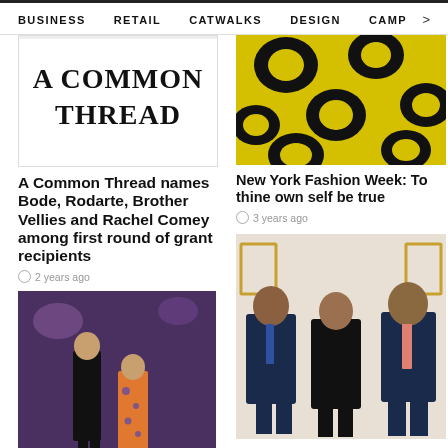BUSINESS   RETAIL   CATWALKS   DESIGN   CAMP >
[Figure (photo): A Common Thread logo/title card with large serif text on white background]
A Common Thread names Bode, Rodarte, Brother Vellies and Rachel Comey among first round of grant recipients
2 years ago
[Figure (photo): Yellow and black floral patterned fabric close-up, fashion editorial]
New York Fashion Week: To thine own self be true
3 years ago
[Figure (photo): Runway show with models in black latex and orange floral dress, dramatic lighting]
[Figure (photo): Three men in dark suits posing for photo in ornate room]
Black Panther-inspired Nike...
Arab Fashion Summit...